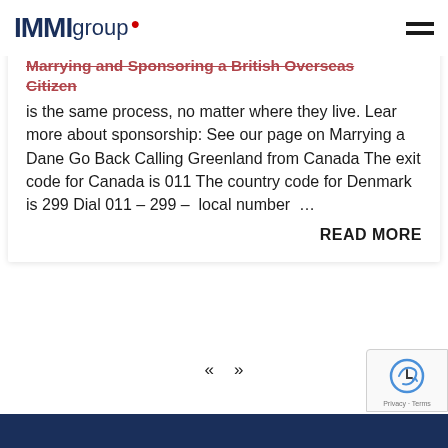IMMIgroup
Marrying and Sponsoring a British Overseas Citizen
is the same process, no matter where they live. Lear more about sponsorship: See our page on Marrying a Dane Go Back Calling Greenland from Canada The exit code for Canada is 011 The country code for Denmark is 299 Dial 011 – 299 – local number  …
READ MORE
« »